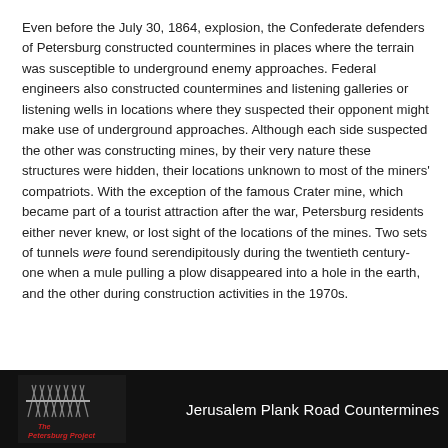Even before the July 30, 1864, explosion, the Confederate defenders of Petersburg constructed countermines in places where the terrain was susceptible to underground enemy approaches.  Federal engineers also constructed countermines and listening galleries or listening wells in locations where they suspected their opponent might make use of underground approaches.  Although each side suspected the other was constructing mines, by their very nature these structures were hidden, their locations unknown to most of the miners' compatriots.  With the exception of the famous Crater mine, which became part of a tourist attraction after the war, Petersburg residents either never knew, or lost sight of the locations of the mines.  Two sets of tunnels were found serendipitously during the twentieth century- one when a mule pulling a plow disappeared into a hole in the earth, and the other during construction activities in  the 1970s.
[Figure (logo): The Petersburg Project logo with stylized fence/chevaux-de-frise graphic and red italic text]
Jerusalem Plank Road Countermines